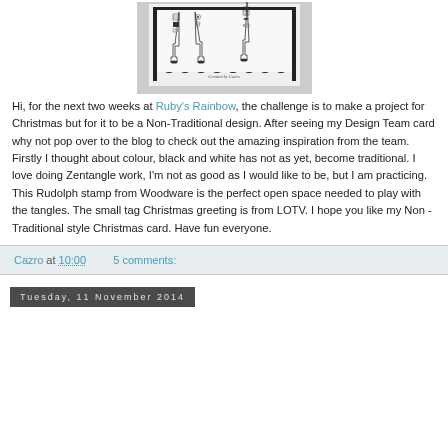[Figure (photo): A handmade Christmas card featuring Zentangle-style decorated reindeer legs/hooves stamped in black and white, with a small label reading 'Created by Cazro'. The card has a wavy bottom edge on white card stock, mounted on black card.]
Hi, for the next two weeks at Ruby's Rainbow, the challenge is to make a project for Christmas but for it to be a Non-Traditional design. After seeing my Design Team card why not pop over to the blog to check out the amazing inspiration from the team. Firstly I thought about colour, black and white has not as yet, become traditional. I love doing Zentangle work, I'm not as good as I would like to be, but I am practicing. This Rudolph stamp from Woodware is the perfect open space needed to play with the tangles. The small tag Christmas greeting is from LOTV.  I hope you like my Non - Traditional style Christmas card. Have fun everyone.
Cazro at 10:00    5 comments:
Tuesday, 11 November 2014